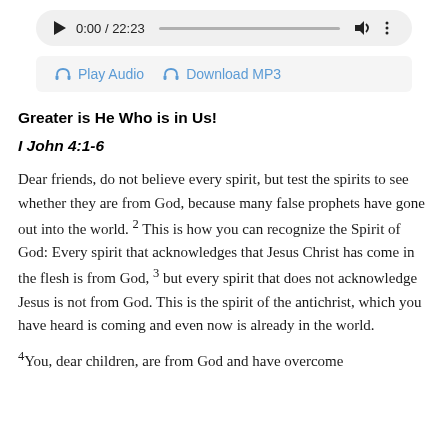[Figure (screenshot): Audio player showing 0:00 / 22:23 with play button, progress bar, speaker icon, and options dots]
[Figure (screenshot): Button bar with headphone icons for Play Audio and Download MP3]
Greater is He Who is in Us!
I John 4:1-6
Dear friends, do not believe every spirit, but test the spirits to see whether they are from God, because many false prophets have gone out into the world. 2 This is how you can recognize the Spirit of God: Every spirit that acknowledges that Jesus Christ has come in the flesh is from God, 3 but every spirit that does not acknowledge Jesus is not from God. This is the spirit of the antichrist, which you have heard is coming and even now is already in the world.
4 You, dear children, are from God and have overcome